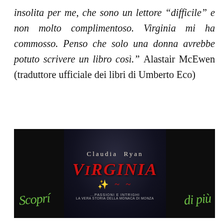insolita per me, che sono un lettore “difficile” e non molto complimentoso. Virginia mi ha commosso. Penso che solo una donna avrebbe potuto scrivere un libro così.” Alastair McEwen (traduttore ufficiale dei libri di Umberto Eco)
[Figure (photo): Book cover of 'Virginia' by Claudia Ryan, dark background with red title text, decorative scrollwork, subtitle text, with green handwritten cursive 'Scopri' on the left and 'di più' on the right overlaid on the image.]